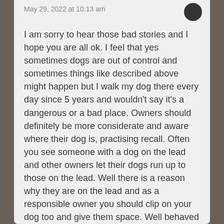May 29, 2022 at 10:13 am
I am sorry to hear those bad stories and I hope you are all ok. I feel that yes sometimes dogs are out of control and sometimes things like described above might happen but I walk my dog there every day since 5 years and wouldn't say it's a dangerous or a bad place. Owners should definitely be more considerate and aware where their dog is, practising recall. Often you see someone with a dog on the lead and other owners let their dogs run up to those on the lead. Well there is a reason why they are on the lead and as a responsible owner you should clip on your dog too and give them space. Well behaved dogs should have a chance to be let off and whilst I understand people don't want to be jumped at it should be up to the owner to control their dog. The rule of